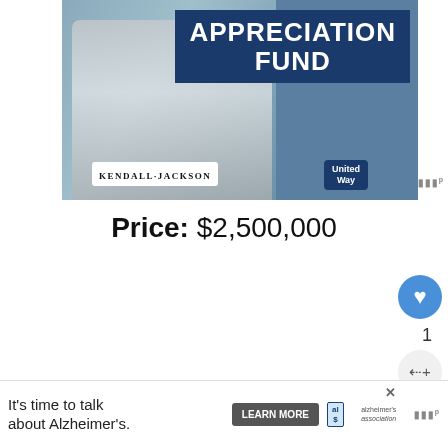[Figure (photo): Advertisement banner showing a grocery store worker in an apron smiling, with text 'APPRECIATION FUND' in bold white on dark blue background, Kendall-Jackson and United Way logos at bottom]
Price: $2,500,000
[Figure (infographic): Heart/like button (blue circle with heart icon), like count '1', and share button]
If you think that these were wait until you see these sports cars
[Figure (photo): Thumbnail image for 'WHAT'S NEXT' content showing [REVEALED] All Cars Tha...]
[Figure (infographic): Bottom advertisement: It's time to talk about Alzheimer's. with Learn More button and Alzheimer's Association logo]